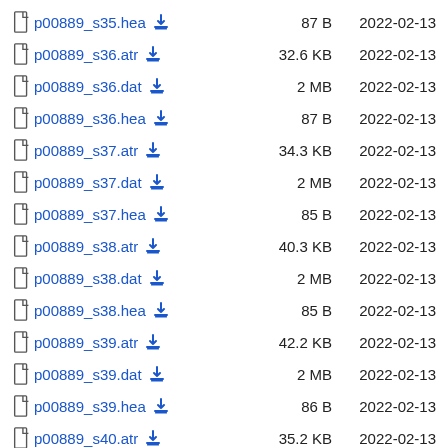| File | Size | Date |
| --- | --- | --- |
| p00889_s35.hea | 87 B | 2022-02-13 |
| p00889_s36.atr | 32.6 KB | 2022-02-13 |
| p00889_s36.dat | 2 MB | 2022-02-13 |
| p00889_s36.hea | 87 B | 2022-02-13 |
| p00889_s37.atr | 34.3 KB | 2022-02-13 |
| p00889_s37.dat | 2 MB | 2022-02-13 |
| p00889_s37.hea | 85 B | 2022-02-13 |
| p00889_s38.atr | 40.3 KB | 2022-02-13 |
| p00889_s38.dat | 2 MB | 2022-02-13 |
| p00889_s38.hea | 85 B | 2022-02-13 |
| p00889_s39.atr | 42.2 KB | 2022-02-13 |
| p00889_s39.dat | 2 MB | 2022-02-13 |
| p00889_s39.hea | 86 B | 2022-02-13 |
| p00889_s40.atr | 35.2 KB | 2022-02-13 |